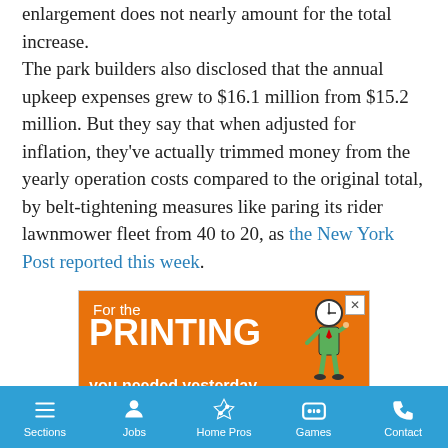enlargement does not nearly amount for the total increase.

The park builders also disclosed that the annual upkeep expenses grew to $16.1 million from $15.2 million. But they say that when adjusted for inflation, they've actually trimmed money from the yearly operation costs compared to the original total, by belt-tightening measures like paring its rider lawnmower fleet from 40 to 20, as the New York Post reported this week.
[Figure (other): Advertisement banner for Minuteman Press of Brooklyn with orange background featuring text 'For the PRINTING you needed yesterday' and a cartoon figure, with logo at bottom.]